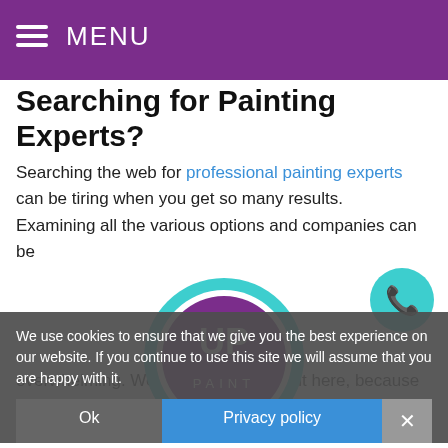MENU
Searching for Painting Experts?
Searching the web for professional painting experts can be tiring when you get so many results.  Examining all the various options and companies can be
[Figure (logo): UP Paint logo: teal ring with purple circle containing white UP letters and PAINT text]
[Figure (other): Teal circle phone button with white phone icon]
We use cookies to ensure that we give you the best experience on our website. If you continue to use this site we will assume that you are happy with it.
overwhelming. Well, you can stop right here, because Umbare has all the painting resources you're looking for right at your finger tips! The absolute best Interior / Exterior Painting experts